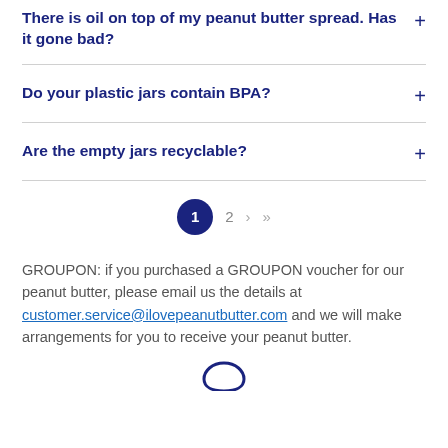There is oil on top of my peanut butter spread. Has it gone bad?
Do your plastic jars contain BPA?
Are the empty jars recyclable?
Pagination: 1, 2, ›, »
GROUPON: if you purchased a GROUPON voucher for our peanut butter, please email us the details at customer.service@ilovepeanutbutter.com and we will make arrangements for you to receive your peanut butter.